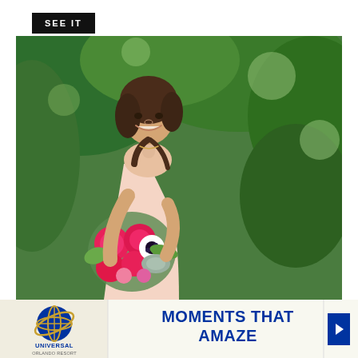SEE IT
[Figure (photo): A smiling woman in a sleeveless light pink dress holding a bouquet of pink roses and white flowers, standing in front of green leafy foliage.]
[Figure (infographic): Universal Orlando Resort advertisement banner. Shows the Universal logo globe on the left, text 'MOMENTS THAT AMAZE' in blue in the center, 'Meetings & Events' tagline, with navigation arrows and close button on the right.]